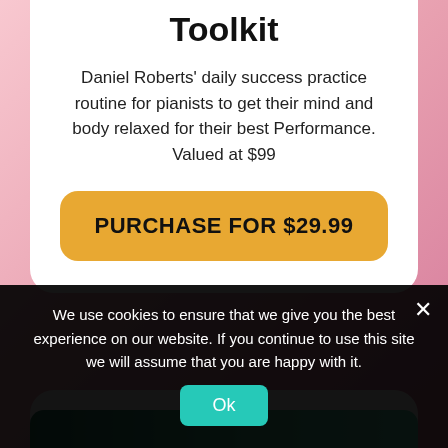Toolkit
Daniel Roberts' daily success practice routine for pianists to get their mind and body relaxed for their best Performance. Valued at $99
PURCHASE FOR $29.99
[Figure (screenshot): Partial green button for a lower card, partially visible at bottom of main content area]
We use cookies to ensure that we give you the best experience on our website. If you continue to use this site we will assume that you are happy with it.
Ok